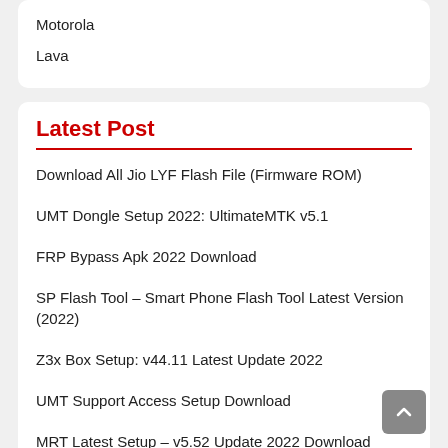Motorola
Lava
Latest Post
Download All Jio LYF Flash File (Firmware ROM)
UMT Dongle Setup 2022: UltimateMTK v5.1
FRP Bypass Apk 2022 Download
SP Flash Tool – Smart Phone Flash Tool Latest Version (2022)
Z3x Box Setup: v44.11 Latest Update 2022
UMT Support Access Setup Download
MRT Latest Setup – v5.52 Update 2022 Download (MRT Dongle)